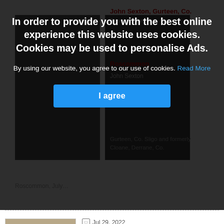[Figure (screenshot): Dimmed background showing partial obituary website with photos and red text partially visible behind cookie consent overlay]
In order to provide you with the best online experience this website uses cookies. Cookies may be used to personalise Ads.
By using our website, you agree to our use of cookies. Read More
I agree
Jul 29, 2022
Patrick (Paddy) Naughton, Turin, Kilmaine, Co. Mayo
Patrick (Paddy) Naughton,
Turin, Kilmaine, Co. Mayo - peacefully, in the care of the…
[Figure (photo): Photo of an elderly smiling man wearing a plaid shirt]
Jul 29, 2022
Bridget Lyons nee Gaffney, Carramack, Logboy, Claremorris
[Figure (photo): Photo of a woman with blonde hair]